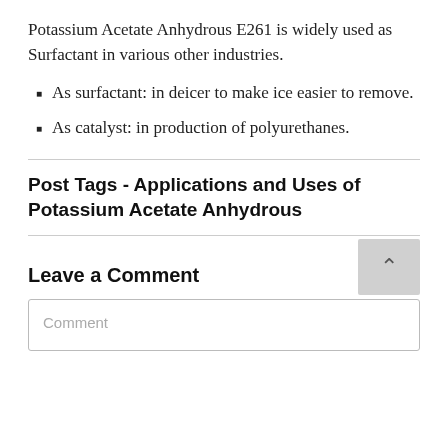Potassium Acetate Anhydrous E261 is widely used as Surfactant in various other industries.
As surfactant: in deicer to make ice easier to remove.
As catalyst: in production of polyurethanes.
Post Tags - Applications and Uses of Potassium Acetate Anhydrous
Leave a Comment
Comment